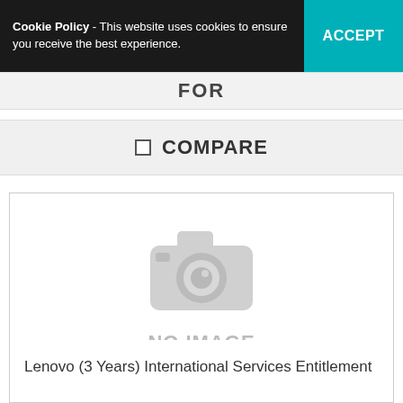Cookie Policy - This website uses cookies to ensure you receive the best experience. ACCEPT
FOR
COMPARE
[Figure (illustration): No image available placeholder with camera icon and text 'NO IMAGE AVAILABLE']
Lenovo (3 Years) International Services Entitlement